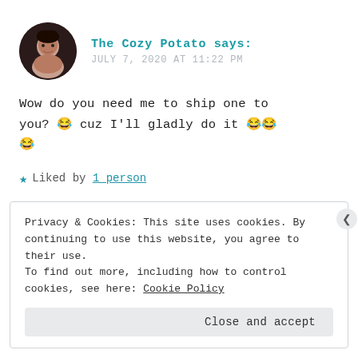The Cozy Potato says: JULY 7, 2020 AT 11:22 PM
Wow do you need me to ship one to you? 😂 cuz I'll gladly do it 😂😂😂
★ Liked by 1 person
Privacy & Cookies: This site uses cookies. By continuing to use this website, you agree to their use. To find out more, including how to control cookies, see here: Cookie Policy
Close and accept